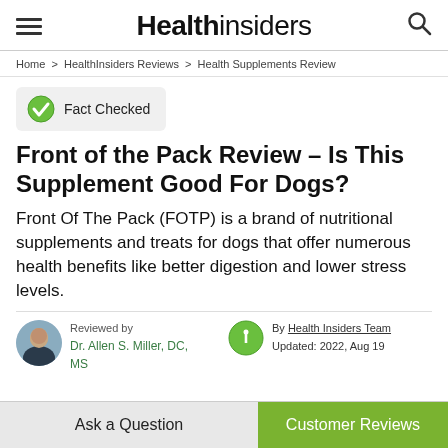Healthinsiders
Home > HealthInsiders Reviews > Health Supplements Review
[Figure (logo): Fact Checked badge with green checkmark icon]
Front of the Pack Review – Is This Supplement Good For Dogs?
Front Of The Pack (FOTP) is a brand of nutritional supplements and treats for dogs that offer numerous health benefits like better digestion and lower stress levels.
Reviewed by Dr. Allen S. Miller, DC, MS
By Health Insiders Team Updated: 2022, Aug 19
Ask a Question
Customer Reviews